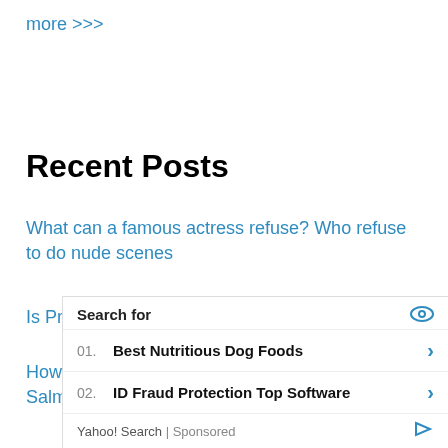more >>>
Recent Posts
What can a famous actress refuse? Who refuse to do nude scenes
Is Priyanka Chopra's Bollywood journey over?
How many films has Aamir Khan done with Salman Khan?
[Figure (other): Yahoo Search sponsored advertisement overlay with 'Search for' header, listing 01. Best Nutritious Dog Foods and 02. ID Fraud Protection Top Software]